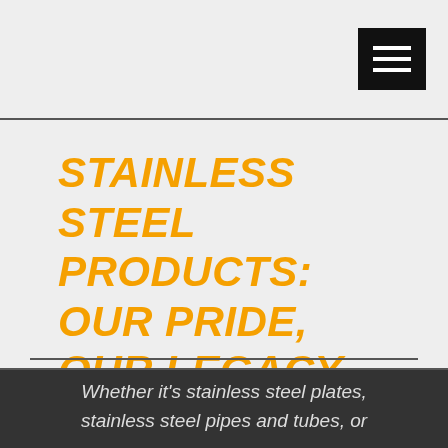[Figure (other): Hamburger menu icon — black square with three white horizontal lines]
STAINLESS STEEL PRODUCTS: OUR PRIDE, OUR LEGACY
Whether it's stainless steel plates, stainless steel pipes and tubes, or